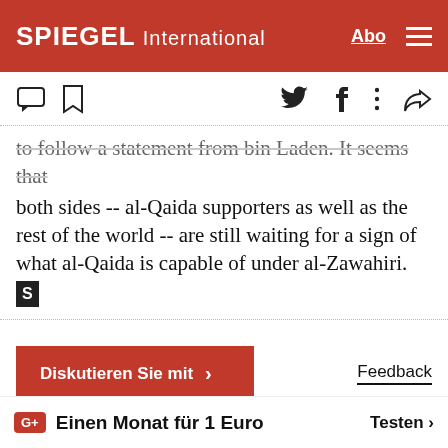SPIEGEL International
to follow a statement from bin Laden. It seems that both sides -- al-Qaida supporters as well as the rest of the world -- are still waiting for a sign of what al-Qaida is capable of under al-Zawahiri.
Diskutieren Sie mit  >
Feedback
ANZEIGE
Smartfeed
G+ Einen Monat für 1 Euro  Testen >